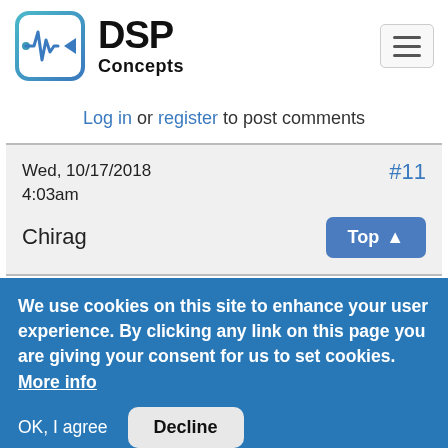[Figure (logo): DSP Concepts logo with waveform icon and text]
Log in or register to post comments
Wed, 10/17/2018
4:03am
Chirag
#11
Top
We use cookies on this site to enhance your user experience. By clicking any link on this page you are giving your consent for us to set cookies. More info
OK, I agree  Decline